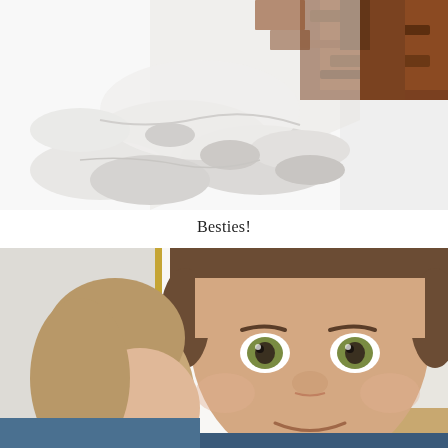[Figure (photo): Aerial/overhead view of melting snow with brown wood mulch/bark visible in the upper right corner. The snow appears textured and partially melted.]
Besties!
[Figure (photo): Two children smiling closely together indoors. A boy with brown hair and hazel/green eyes is in the foreground, and a younger girl with lighter brown hair is partially visible to his left. A white door and golden frame are visible in the background.]